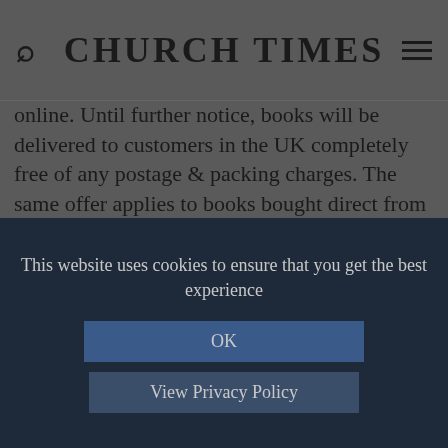CHURCH TIMES
online. Until further notice, books will be delivered to customers in the UK completely free of any postage & packing charges. The same offer applies to books bought direct from the Canterbury Press, Church House Publishing, and SCM Press sites. Service might be a little slower than we would like.
Church House Bookshop has also compiled a list of suggested titles for these troubled times. This can be found on its website.
This website uses cookies to ensure that you get the best experience
OK
View Privacy Policy